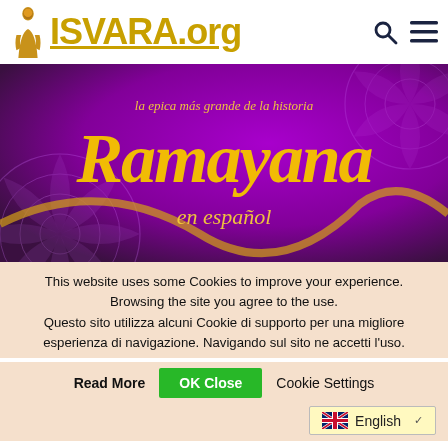[Figure (logo): ISVARA.org website header with monk silhouette logo, gold text 'ISVARA.org', search and menu icons]
[Figure (illustration): Purple banner with gold floral mandala patterns and text: 'la epica más grande de la historia', 'Ramayana', 'en español']
This website uses some Cookies to improve your experience. Browsing the site you agree to the use. Questo sito utilizza alcuni Cookie di supporto per una migliore esperienza di navigazione. Navigando sul sito ne accetti l'uso.
Read More   OK Close   Cookie Settings
English